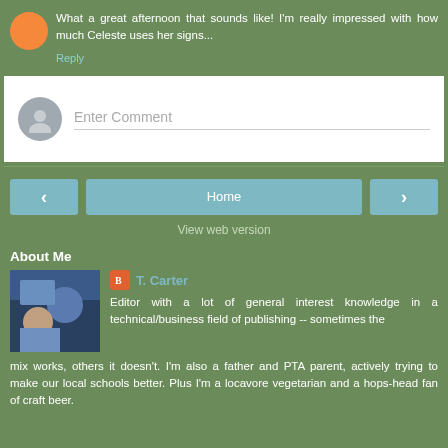What a great afternoon that sounds like! I'm really impressed with how much Celeste uses her signs...
Reply
Enter Comment
Home
View web version
About Me
T. Carter
Editor with a lot of general interest knowledge in a technical/business field of publishing -- sometimes the mix works, others it doesn't. I'm also a father and PTA parent, actively trying to make our local schools better. Plus I'm a locavore vegetarian and a hops-head fan of craft beer.